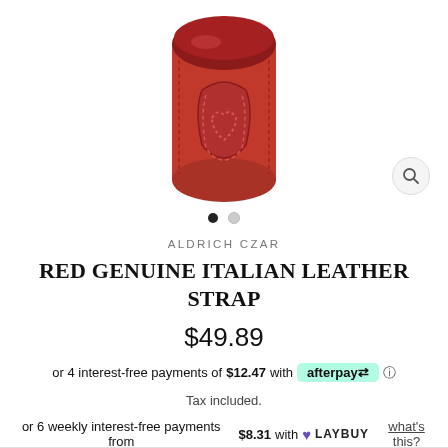[Figure (photo): Red genuine Italian leather strap product photo, showing a rolled/cylindrical red leather strap with visible stitching and texture]
ALDRICH CZAR
RED GENUINE ITALIAN LEATHER STRAP
$49.89
or 4 interest-free payments of $12.47 with afterpay ℹ
Tax included.
or 6 weekly interest-free payments from $8.31 with ♥ LAYBUY what's this?